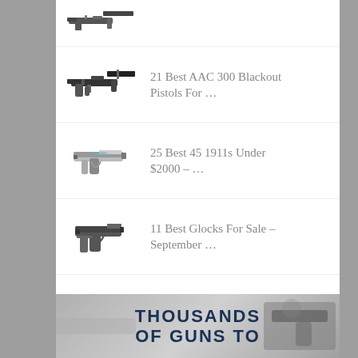21 Best AAC 300 Blackout Pistols For …
25 Best 45 1911s Under $2000 – …
11 Best Glocks For Sale – September …
[Figure (photo): Advertisement banner with text 'THOUSANDS OF GUNS TO' over a blurred gun background]